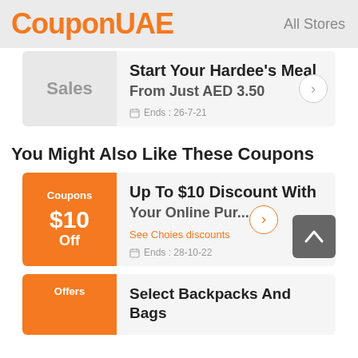CouponUAE   All Stores
[Figure (screenshot): Sales coupon card for Hardee's Meal starting from AED 3.50, ends 26-7-21]
You Might Also Like These Coupons
Coupons $10 Off – Up To $10 Discount With Your Online Purchase. See Choies discounts. Ends: 28-10-22
Offers – Select Backpacks And Bags